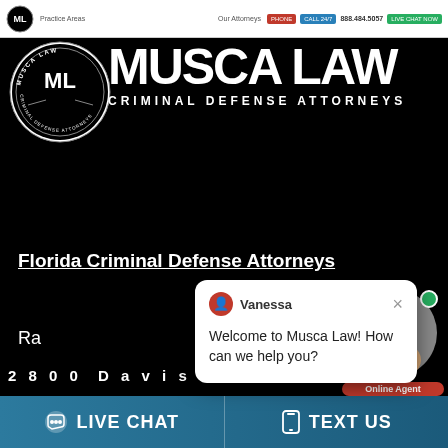[Figure (screenshot): Musca Law website screenshot showing navigation bar with phone number 888.484.5057, logo, and branding]
MUSCA LAW
CRIMINAL DEFENSE ATTORNEYS
Florida Criminal Defense Attorneys
Ra...
[Figure (screenshot): Chat popup with agent Vanessa saying: Welcome to Musca Law! How can we help you?]
2800 Davis Blvd
Suite 101
Naples,FL 34104
[Figure (photo): Online agent avatar photo of a woman with green online indicator dot and red notification badge showing 1, with Online Agent label]
LIVE CHAT
TEXT US